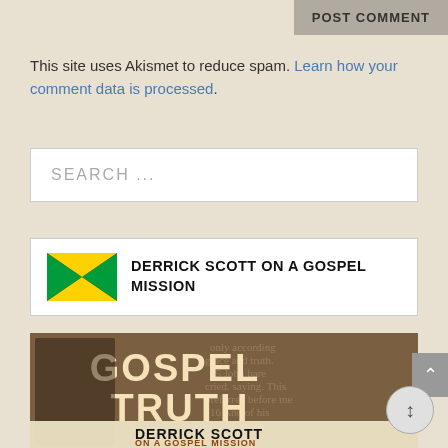POST COMMENT
This site uses Akismet to reduce spam. Learn how your comment data is processed.
SEARCH ...
DERRICK SCOTT ON A GOSPEL MISSION
[Figure (photo): Gospel Truth album cover featuring Derrick Scott on a Gospel Mission. A man in a suit stands in front of large text reading GOSPEL TRUTH with biblical scripture in the background. Bottom banner reads DERRICK SCOTT ON A GOSPEL MISSION.]